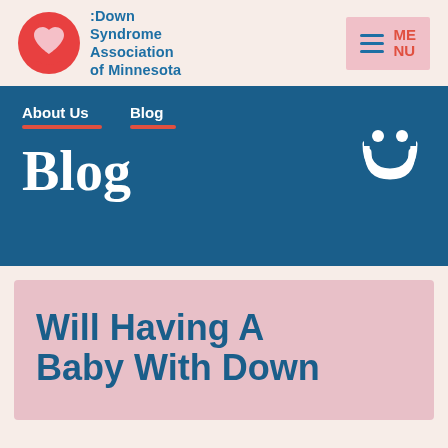Down Syndrome Association of Minnesota
About Us   Blog
Blog
Will Having A Baby With Down